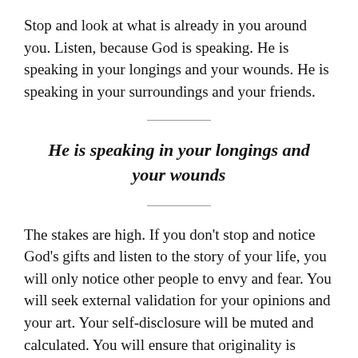Stop and look at what is already in you around you. Listen, because God is speaking. He is speaking in your longings and your wounds. He is speaking in your surroundings and your friends.
He is speaking in your longings and your wounds
The stakes are high. If you don't stop and notice God's gifts and listen to the story of your life, you will only notice other people to envy and fear. You will seek external validation for your opinions and your art. Your self-disclosure will be muted and calculated. You will ensure that originality is